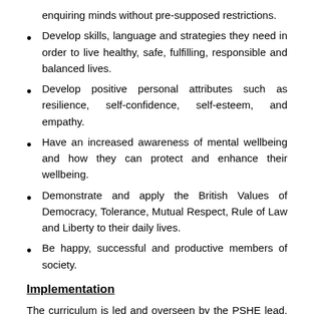enquiring minds without pre-supposed restrictions.
Develop skills, language and strategies they need in order to live healthy, safe, fulfilling, responsible and balanced lives.
Develop positive personal attributes such as resilience, self-confidence, self-esteem, and empathy.
Have an increased awareness of mental wellbeing and how they can protect and enhance their wellbeing.
Demonstrate and apply the British Values of Democracy, Tolerance, Mutual Respect, Rule of Law and Liberty to their daily lives.
Be happy, successful and productive members of society.
Implementation
The curriculum is led and overseen by the PSHE lead, who works alongside class teachers, to plan,